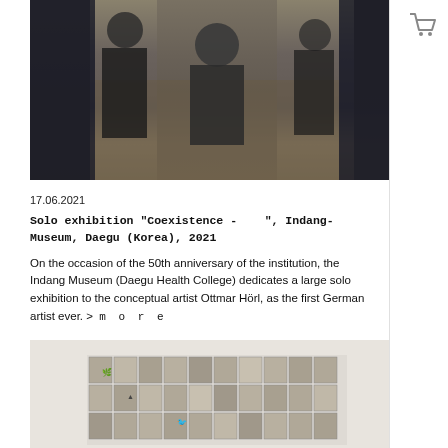[Figure (photo): Photo of people in dark clothing standing in front of artwork/sculptures in a museum or gallery setting]
17.06.2021
Solo exhibition "Coexistence -    ", Indang-Museum, Daegu (Korea), 2021
On the occasion of the 50th anniversary of the institution, the Indang Museum (Daegu Health College) dedicates a large solo exhibition to the conceptual artist Ottmar Hörl, as the first German artist ever. >   m o r e
[Figure (photo): Grid artwork composed of multiple square panels with black and white relief or printed images]